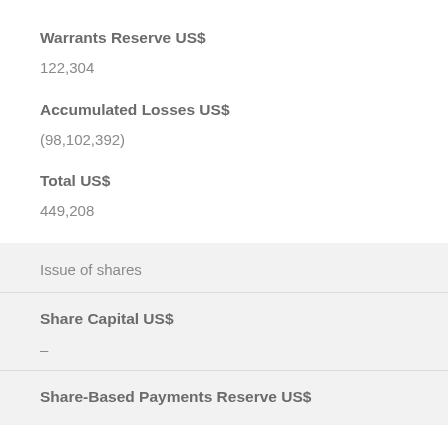Warrants Reserve US$
122,304
Accumulated Losses US$
(98,102,392)
Total US$
449,208
Issue of shares
Share Capital US$
–
Share-Based Payments Reserve US$